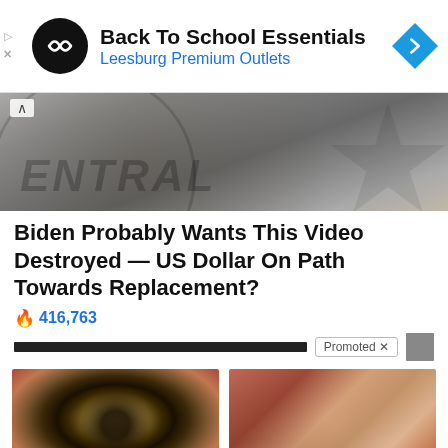[Figure (screenshot): Ad banner for Back To School Essentials at Leesburg Premium Outlets with logo icon and navigation diamond icon]
Back To School Essentials
Leesburg Premium Outlets
[Figure (photo): Close-up partial view of CIA seal/logo in grayscale showing word CENTRAL]
Biden Probably Wants This Video Destroyed — US Dollar On Path Towards Replacement?
416,763
Promoted X
[Figure (photo): Close-up macro photo of a human eye with detailed iris]
How Your Body Warns You That Dementia Is Forming
34,207
[Figure (photo): Close-up medical photo of internal organ tissue]
What They Didn't Want You Knowing About Metformin
198,563